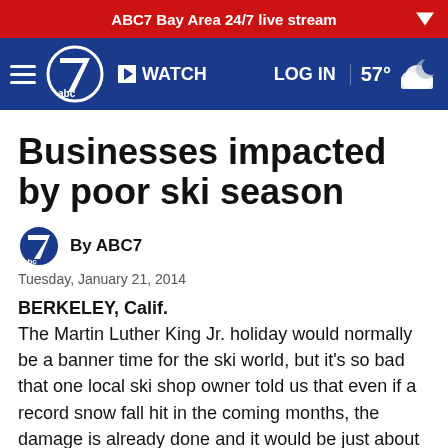ABC7 Bay Area 24/7 live stream
[Figure (logo): ABC7 navigation bar with hamburger menu, ABC7 circular logo, WATCH button, LOG IN button, and 57° weather indicator]
Businesses impacted by poor ski season
By ABC7
Tuesday, January 21, 2014
BERKELEY, Calif. The Martin Luther King Jr. holiday would normally be a banner time for the ski world, but it's so bad that one local ski shop owner told us that even if a record snow fall hit in the coming months, the damage is already done and it would be just about impossible to fully recover.